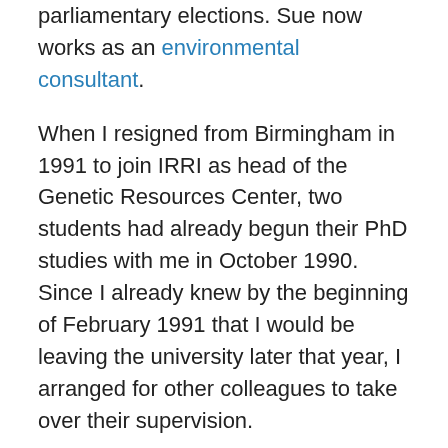parliamentary elections. Sue now works as an environmental consultant.
When I resigned from Birmingham in 1991 to join IRRI as head of the Genetic Resources Center, two students had already begun their PhD studies with me in October 1990. Since I already knew by the beginning of February 1991 that I would be leaving the university later that year, I arranged for other colleagues to take over their supervision.
Gisella Orjeda (Peru) transferred to geneticist Dr Mike Lawrence and completed her study in 1995 on ploidy manipulations for sweet potato breeding and genetic studies, in collaboration with the International Potato Center (CIP). Gisella is now the President (CEO) of CONCYTEC (Consejo Nacional de Ciencia, Tecnología e